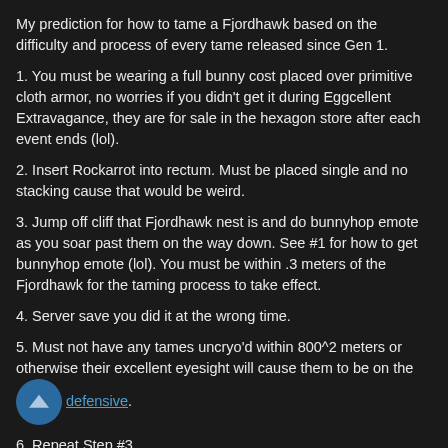My prediction for how to tame a Fjordhawk based on the difficulty and process of every tame released since Gen 1.
1. You must be wearing a full bunny cost placed over primitive cloth armor, no worries if you didn't get it during Eggcellent Extravagance, they are for sale in the hexagon store after each event ends (lol).
2. Insert Rockarrot into rectum. Must be placed single and no stacking cause that would be weird.
3. Jump off cliff that Fjordhawk nest is and do bunnyhop emote as you soar past them on the way down. See #1 for how to get bunnyhop emote (lol). You must be within .3 meters of the Fjordhawk for the taming process to take effect.
4. Server save you did it at the wrong time.
5. Must not have any tames uncryo'd within 800^2 meters or otherwise their excellent eyesight will cause them to be on the defensive.
6. Repeat Step #3